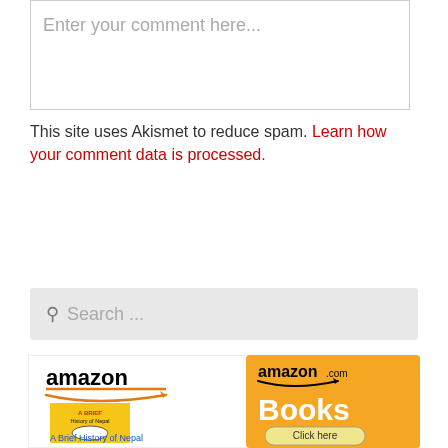Enter your comment here...
This site uses Akismet to reduce spam. Learn how your comment data is processed.
Search ...
[Figure (screenshot): Amazon product widget showing a book 'A Brief History of Nepal' priced at $9.99 with Prime logo, and an Amazon.com Books banner with 'Click here' button]